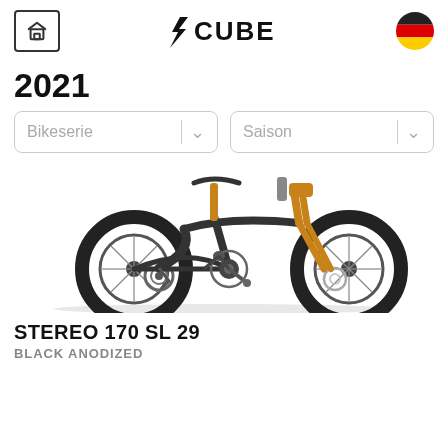CUBE logo with home button and German flag
2021
Bikeserie dropdown | Saison dropdown
[Figure (photo): Mountain bike CUBE Stereo 170 SL 29 in black anodized finish, side and front view]
STEREO 170 SL 29
BLACK ANODIZED